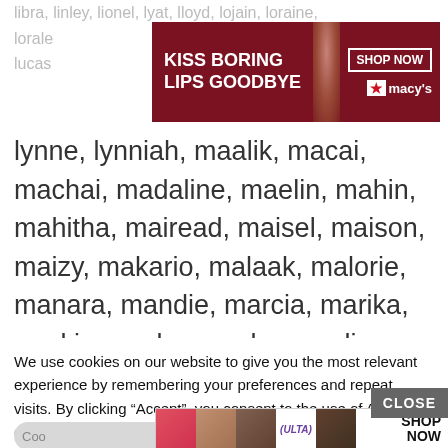libra, linley, lionel, lyat, lloyd, lojain, loraine, lorale... lucas...
[Figure (photo): Macy's advertisement banner: dark red background with woman's face, text 'KISS BORING LIPS GOODBYE', SHOP NOW button, and Macy's star logo]
lynne, lynniah, maalik, macai, machai, madaline, maelin, mahin, mahitha, mairead, maisel, maison, maizy, makario, malaak, malorie, manara, mandie, marcia, marika, markie, marlay, marley, marlie, marsai, martie, masie, matai, maxine, may, maybel, maybell, maye, mayley, mayson, mayze, maze, mazie, meilani, mekai, mekhai, melea, merari, mercia, merlo, meyson, mikeal, mikal
We use cookies on our website to give you the most relevant experience by remembering your preferences and repeat visits. By clicking “Accept”, you consent to the use of ALL the cookies.

Do not sell my personal information.
[Figure (photo): ULTA Beauty advertisement banner with beauty/makeup imagery and SHOP NOW text]